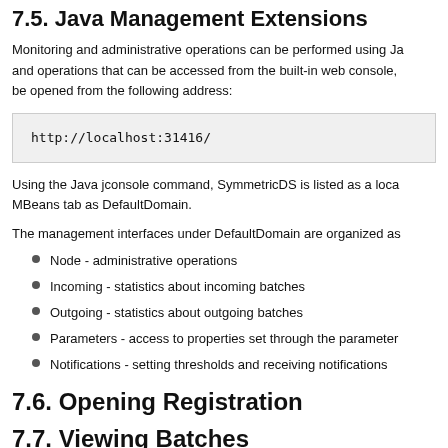7.5. Java Management Extensions
Monitoring and administrative operations can be performed using Ja and operations that can be accessed from the built-in web console, be opened from the following address:
http://localhost:31416/
Using the Java jconsole command, SymmetricDS is listed as a loca MBeans tab as DefaultDomain.
The management interfaces under DefaultDomain are organized as
Node - administrative operations
Incoming - statistics about incoming batches
Outgoing - statistics about outgoing batches
Parameters - access to properties set through the parameter
Notifications - setting thresholds and receiving notifications
7.6. Opening Registration
7.7. Viewing Batches